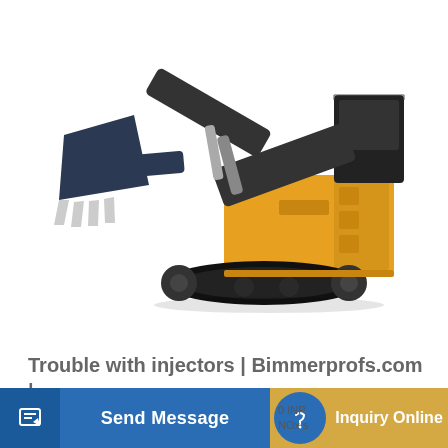[Figure (photo): Large yellow mining excavator / face shovel with dark steel bucket attachment and crawler tracks, shown on white background.]
Trouble with injectors | Bimmerprofs.com | NOx emulator
[Figure (infographic): Bottom navigation bar with two buttons: a blue 'Send Message' button with pencil icon on the left, and a tan/gold 'Inquiry Online' button with a blue circular headset icon on the right. Partially obscured text reading '0 INP' and 'NOx s' visible in the center.]